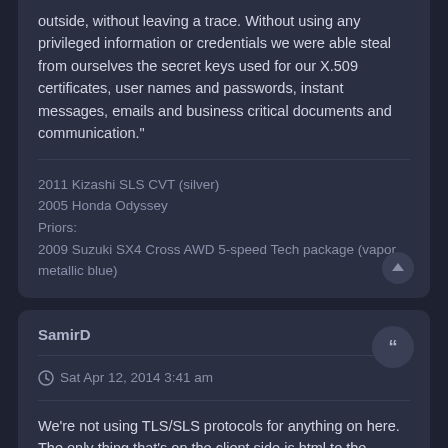outside, without leaving a trace. Without using any privileged information or credentials we were able steal from ourselves the secret keys used for our X.509 certificates, user names and passwords, instant messages, emails and business critical documents and communication."
2011 Kizashi SLS CVT (silver)
2005 Honda Odyssey
Priors:
2009 Suzuki SX4 Cross AWD 5-speed Tech package (vapor metallic blue)
SamirD
Sat Apr 12, 2014 3:41 am
We're not using TLS/SLS protocols for anything on here. The only thing that's on the client side is html to the browser.